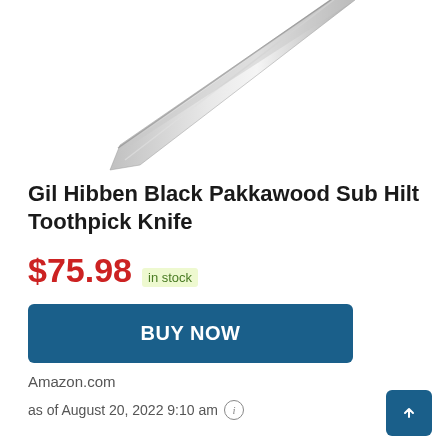[Figure (photo): Partial view of a knife blade (Gil Hibben Black Pakkawood Sub Hilt Toothpick Knife) showing the tip and lower portion of the blade against a white background.]
Gil Hibben Black Pakkawood Sub Hilt Toothpick Knife
$75.98 in stock
BUY NOW
Amazon.com
as of August 20, 2022 9:10 am